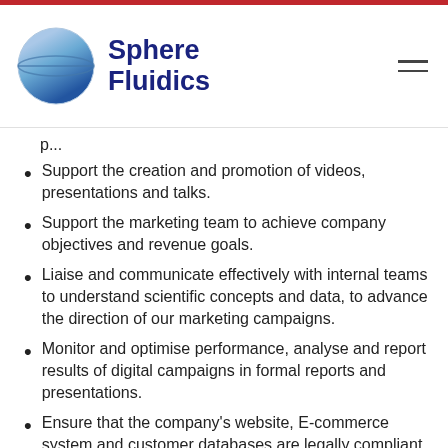[Figure (logo): Sphere Fluidics logo with blue sphere graphic and company name]
p...
Support the creation and promotion of videos, presentations and talks.
Support the marketing team to achieve company objectives and revenue goals.
Liaise and communicate effectively with internal teams to understand scientific concepts and data, to advance the direction of our marketing campaigns.
Monitor and optimise performance, analyse and report results of digital campaigns in formal reports and presentations.
Ensure that the company's website, E-commerce system and customer databases are legally compliant with IT and other relevant, international standards (e.g. GDPR).
Responsible for managing external Consultants responsible for web site design, video creation, updating, maintenance and